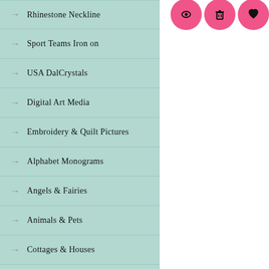Rhinestone Neckline
Sport Teams Iron on
USA DalCrystals
Digital Art Media
Embroidery & Quilt Pictures
Alphabet Monograms
Angels & Fairies
Animals & Pets
Cottages & Houses
[Figure (illustration): Three pink circular icon buttons (eye/view, trash/delete, heart/favorite) in the top right corner]